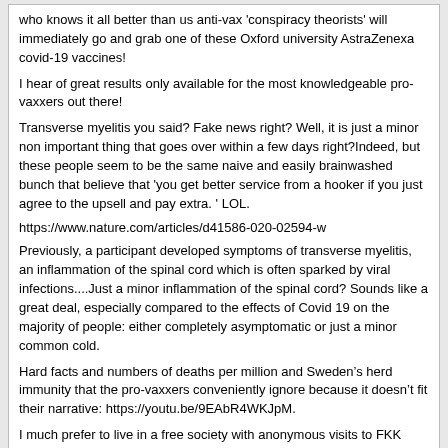who knows it all better than us anti-vax 'conspiracy theorists' will immediately go and grab one of these Oxford university AstraZenexa covid-19 vaccines!
I hear of great results only available for the most knowledgeable pro-vaxxers out there!
Transverse myelitis you said? Fake news right? Well, it is just a minor non important thing that goes over within a few days right?Indeed, but these people seem to be the same naive and easily brainwashed bunch that believe that 'you get better service from a hooker if you just agree to the upsell and pay extra. ' LOL.
https://www.nature.com/articles/d41586-020-02594-w
Previously, a participant developed symptoms of transverse myelitis, an inflammation of the spinal cord which is often sparked by viral infections....Just a minor inflammation of the spinal cord? Sounds like a great deal, especially compared to the effects of Covid 19 on the majority of people: either completely asymptomatic or just a minor common cold.
Hard facts and numbers of deaths per million and Sweden’s herd immunity that the pro-vaxxers conveniently ignore because it doesn’t fit their narrative: https://youtu.be/9EAbR4WKJpM.
I much prefer to live in a free society with anonymous visits to FKK clubs and the risk of a common cold or a small flu, instead of in a totalitarian regime which forces you to take a barely tested vaccine and tracks people to FKK clubs with Corona apps.
Citizen Kane
09-12-20, 09:33
Very good video explaining that the initial Covid spike in deaths could well have been caused by a weak flu season the previous year.
https://www.youtube.com/watch?v=8UvFhIFzaac&list=WL&index=3&t=0s